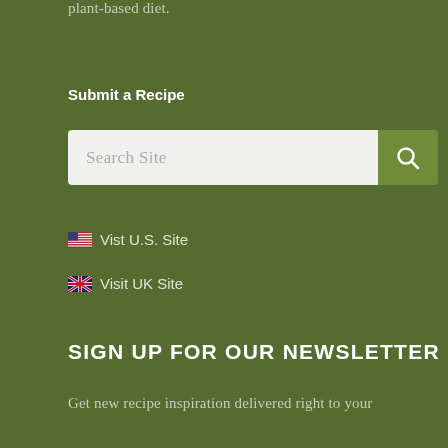plant-based diet.
Submit a Recipe
[Figure (other): Search bar with text input 'Search Site' and green search button with magnifying glass icon]
🇺🇸 Vist U.S. Site
🇬🇧 Visit UK Site
SIGN UP FOR OUR NEWSLETTER
Get new recipe inspiration delivered right to your